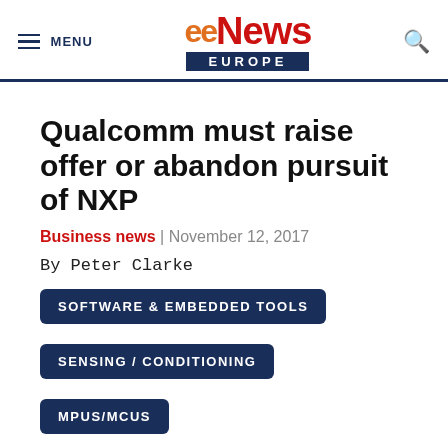eeNews EUROPE
Qualcomm must raise offer or abandon pursuit of NXP
Business news | November 12, 2017
By Peter Clarke
SOFTWARE & EMBEDDED TOOLS
SENSING / CONDITIONING
MPUS/MCUS